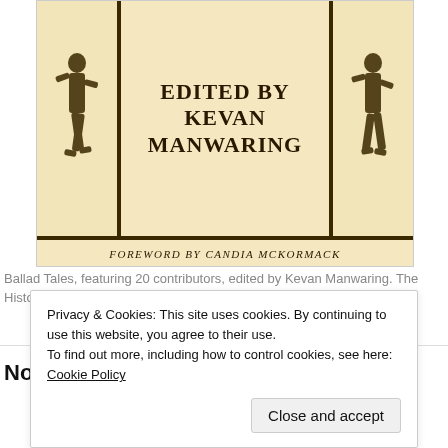[Figure (illustration): Book cover for 'Ballad Tales' edited by Kevan Manwaring, with foreword by Candia McKormack. Features ornate medieval-style woodcut figures on sides and bold uppercase text in center.]
Ballad Tales, featuring 20 contributors, edited by Kevan Manwaring. The History Press 2017
Northamptonshire Folk Tales
[Figure (illustration): Partial view of the Northamptonshire Folk Tales book cover showing colorful decorative bands.]
Privacy & Cookies: This site uses cookies. By continuing to use this website, you agree to their use.
To find out more, including how to control cookies, see here: Cookie Policy
Close and accept